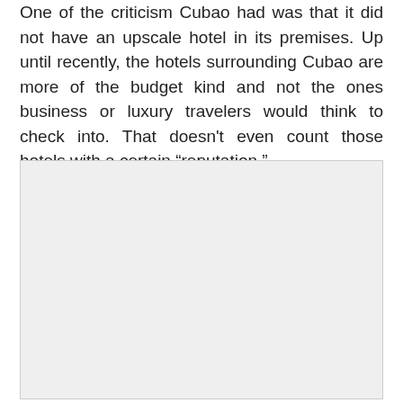One of the criticism Cubao had was that it did not have an upscale hotel in its premises. Up until recently, the hotels surrounding Cubao are more of the budget kind and not the ones business or luxury travelers would think to check into. That doesn't even count those hotels with a certain “reputation.”
[Figure (photo): A large light gray rectangular placeholder image area occupying the lower portion of the page.]